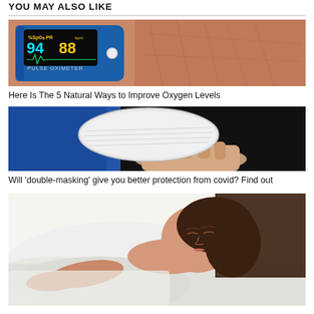YOU MAY ALSO LIKE
[Figure (photo): Close-up of a blue pulse oximeter on elderly fingers showing SpO2: 94 and PR: 88 readings, PULSE OXIMETER text visible]
Here Is The 5 Natural Ways to Improve Oxygen Levels
[Figure (photo): Person in blue medical gloves holding a white N95 or KN95 face mask against dark background]
Will 'double-masking' give you better protection from covid? Find out
[Figure (photo): Young woman with dark hair sleeping peacefully in white bedding, lying on her back]